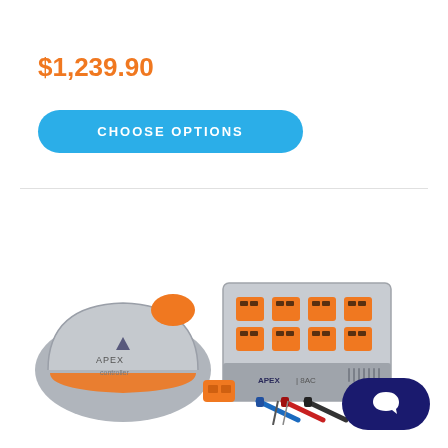$1,239.90
CHOOSE OPTIONS
[Figure (photo): Product photo showing an aquarium/reef controller kit with a gray and orange dome-shaped unit, a gray multi-outlet power strip with orange outlets, various probe cables in red, blue, and black, and a small orange connector/adapter piece. The APEX brand name is visible on the power strip unit.]
[Figure (other): Dark navy blue rounded pill-shaped chat/message button with a white chat bubble icon in the center, located in the bottom right corner.]